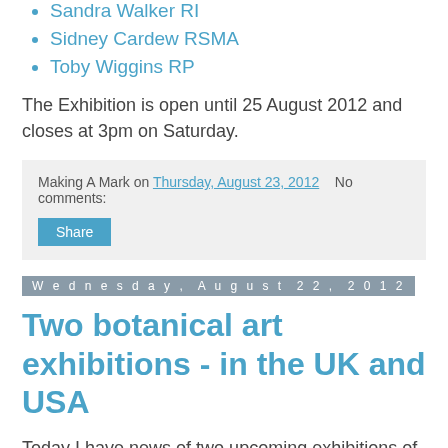Sandra Walker RI
Sidney Cardew RSMA
Toby Wiggins RP
The Exhibition is open until 25 August 2012 and closes at 3pm on Saturday.
Making A Mark on Thursday, August 23, 2012   No comments:
Share
Wednesday, August 22, 2012
Two botanical art exhibitions - in the UK and USA
Today I have news of two upcoming exhibitions of Botanical Art in the UK and USA
UK - Florum: Florum 2012 (8th - 15th September 2012)
USA - Hunt Institute for Botanical